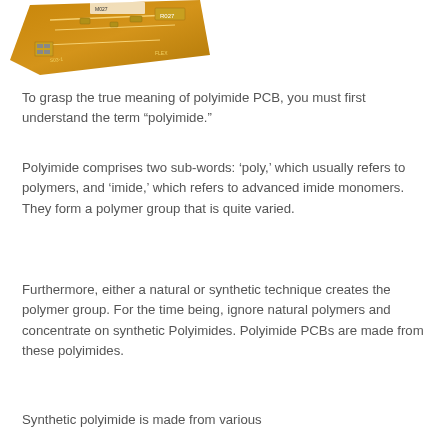[Figure (photo): A flexible polyimide PCB board, golden/amber colored, angled diagonally with visible electronic components and circuit traces.]
To grasp the true meaning of polyimide PCB, you must first understand the term “polyimide.”
Polyimide comprises two sub-words: ‘poly,’ which usually refers to polymers, and ‘imide,’ which refers to advanced imide monomers. They form a polymer group that is quite varied.
Furthermore, either a natural or synthetic technique creates the polymer group. For the time being, ignore natural polymers and concentrate on synthetic Polyimides. Polyimide PCBs are made from these polyimides.
Synthetic polyimide is made from various